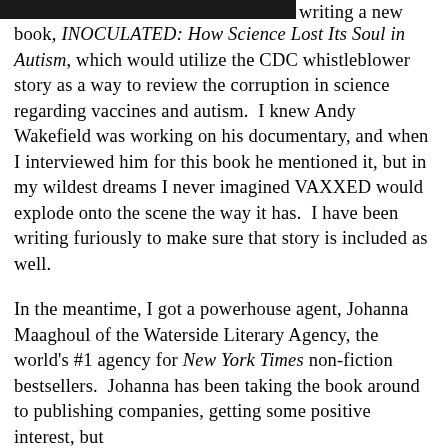[Figure (photo): Partial photo strip at top of page, dark/black image cropped]
writing a new book, INOCULATED: How Science Lost Its Soul in Autism, which would utilize the CDC whistleblower story as a way to review the corruption in science regarding vaccines and autism. I knew Andy Wakefield was working on his documentary, and when I interviewed him for this book he mentioned it, but in my wildest dreams I never imagined VAXXED would explode onto the scene the way it has. I have been writing furiously to make sure that story is included as well.
In the meantime, I got a powerhouse agent, Johanna Maaghoul of the Waterside Literary Agency, the world's #1 agency for New York Times non-fiction bestsellers. Johanna has been taking the book around to publishing companies, getting some positive interest, but